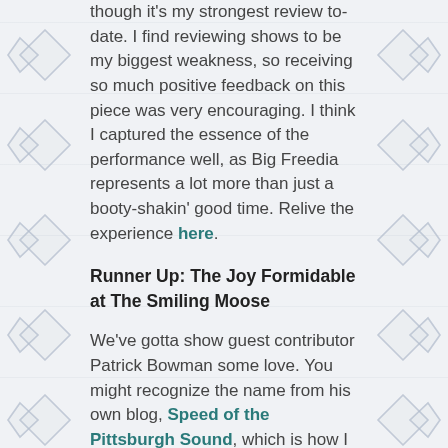though it's my strongest review to-date. I find reviewing shows to be my biggest weakness, so receiving so much positive feedback on this piece was very encouraging. I think I captured the essence of the performance well, as Big Freedia represents a lot more than just a booty-shakin' good time. Relive the experience here.
Runner Up: The Joy Formidable at The Smiling Moose
We've gotta show guest contributor Patrick Bowman some love. You might recognize the name from his own blog, Speed of the Pittsburgh Sound, which is how I discovered the fella. He also writes for legit publications too, like the City Paper, Post-Gazette and even Paper Mag. We're lucky enough to have his words on our blog from time to time, so we got together and